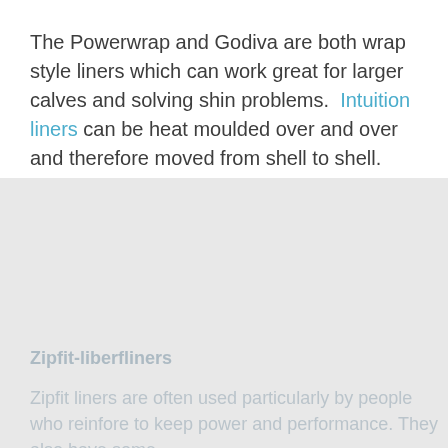The Powerwrap and Godiva are both wrap style liners which can work great for larger calves and solving shin problems.  Intuition liners can be heat moulded over and over and therefore moved from shell to shell.
Zipfit-liberglass
Zipfit liners are often used particularly by people who reinfore to keep power and performance. They also have some